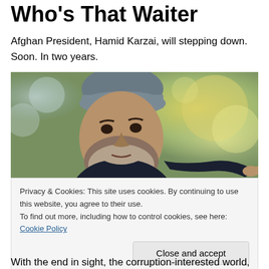Who's That Waiter
Afghan President, Hamid Karzai, will stepping down. Soon. In two years.
[Figure (photo): Photo of Afghan President Hamid Karzai wearing a traditional karakul hat, pointing with his right hand, with a blurred outdoor background.]
Privacy & Cookies: This site uses cookies. By continuing to use this website, you agree to their use.
To find out more, including how to control cookies, see here: Cookie Policy
Close and accept
With the end in sight, the corruption-interested world, viz